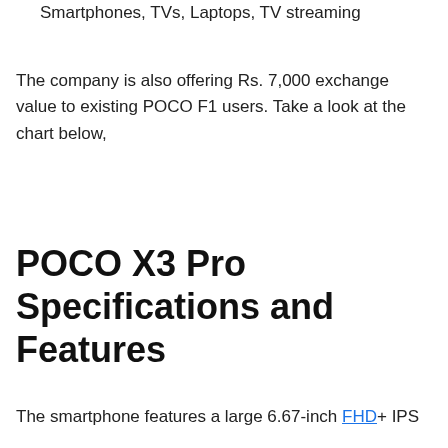Smartphones, TVs, Laptops, TV streaming
The company is also offering Rs. 7,000 exchange value to existing POCO F1 users. Take a look at the chart below,
POCO X3 Pro Specifications and Features
The smartphone features a large 6.67-inch FHD+ IPS